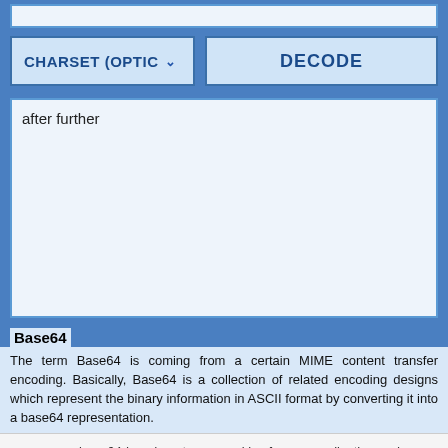[Figure (screenshot): Top portion of a base64 decode web tool interface showing a partial input bar at the top]
CHARSET (OPTIC
DECODE
after further
Base64
The term Base64 is coming from a certain MIME content transfer encoding. Basically, Base64 is a collection of related encoding designs which represent the binary information in ASCII format by converting it into a base64 representation.
www.base64decode.net uses cookies for personalization and functionality. By continuing using this website, you agree to our use of cookies. More info